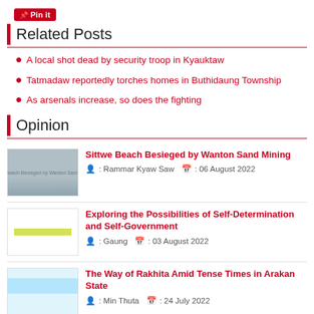[Figure (other): Pinterest 'Pin it' button]
Related Posts
A local shot dead by security troop in Kyauktaw
Tatmadaw reportedly torches homes in Buthidaung Township
As arsenals increase, so does the fighting
Opinion
[Figure (photo): Thumbnail image of Sittwe Beach with hazy seascape]
Sittwe Beach Besieged by Wanton Sand Mining
: Rammar Kyaw Saw  : 06 August 2022
[Figure (other): Thumbnail image with yellow/chartreuse horizontal bar on white background]
Exploring the Possibilities of Self-Determination and Self-Government
: Gaung  : 03 August 2022
[Figure (photo): Thumbnail image with light blue sky/color block]
The Way of Rakhita Amid Tense Times in Arakan State
: Min Thuta  : 24 July 2022